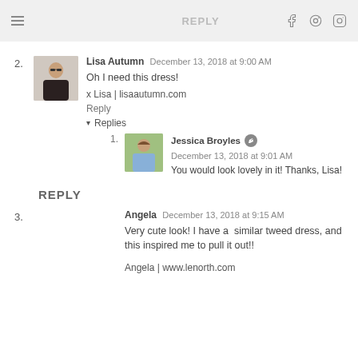REPLY
2. Lisa Autumn  December 13, 2018 at 9:00 AM
Oh I need this dress!

x Lisa | lisaautumn.com
Reply
▾ Replies
1. Jessica Broyles  December 13, 2018 at 9:01 AM
You would look lovely in it! Thanks, Lisa!
REPLY
3. Angela  December 13, 2018 at 9:15 AM
Very cute look! I have a  similar tweed dress, and this inspired me to pull it out!!

Angela | www.lenorth.com